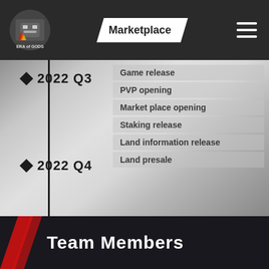Marketplace
2022 Q3
Game release
PVP opening
Market place opening
Staking release
Land information release
Land presale
2022 Q4
Team Members